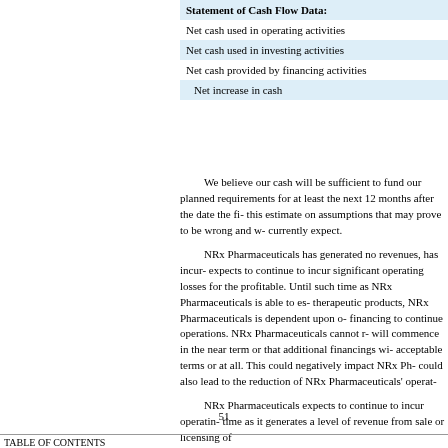| Statement of Cash Flow Data: |
| --- |
| Net cash used in operating activities |
| Net cash used in investing activities |
| Net cash provided by financing activities |
| Net increase in cash |
We believe our cash will be sufficient to fund our planned requirements for at least the next 12 months after the date the fi- this estimate on assumptions that may prove to be wrong and w- currently expect.
NRx Pharmaceuticals has generated no revenues, has incur- expects to continue to incur significant operating losses for the profitable. Until such time as NRx Pharmaceuticals is able to es- therapeutic products, NRx Pharmaceuticals is dependent upon o- financing to continue operations. NRx Pharmaceuticals cannot r- will commence in the near term or that additional financings wi- acceptable terms or at all. This could negatively impact NRx Ph- could also lead to the reduction of NRx Pharmaceuticals' operat-
NRx Pharmaceuticals expects to continue to incur operatin- time as it generates a level of revenue from sale or licensing of
51
TABLE OF CONTENTS